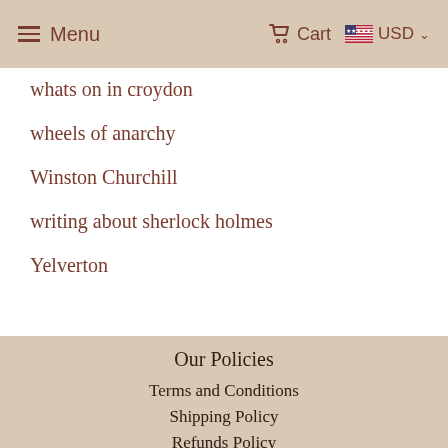Menu   Cart   USD
whats on in croydon
wheels of anarchy
Winston Churchill
writing about sherlock holmes
Yelverton
Our Policies
Terms and Conditions
Shipping Policy
Refunds Policy
Privacy Policy
Cookies